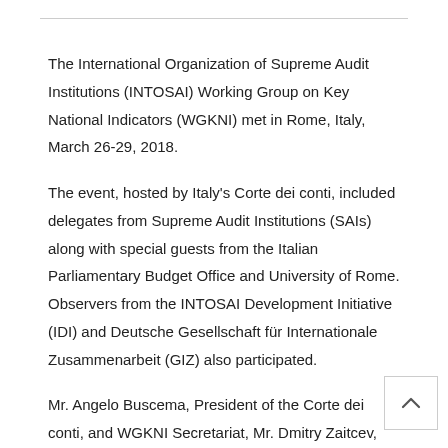The International Organization of Supreme Audit Institutions (INTOSAI) Working Group on Key National Indicators (WGKNI) met in Rome, Italy, March 26-29, 2018.
The event, hosted by Italy's Corte dei conti, included delegates from Supreme Audit Institutions (SAIs) along with special guests from the Italian Parliamentary Budget Office and University of Rome. Observers from the INTOSAI Development Initiative (IDI) and Deutsche Gesellschaft für Internationale Zusammenarbeit (GIZ) also participated.
Mr. Angelo Buscema, President of the Corte dei conti, and WGKNI Secretariat, Mr. Dmitry Zaitcev, Accounts Chamber of the Russian Federation, welcomed participants to the week-long